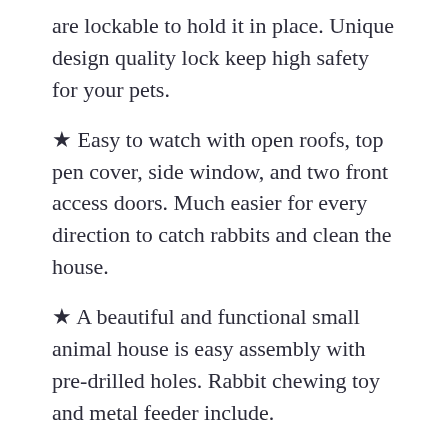are lockable to hold it in place. Unique design quality lock keep high safety for your pets.
★ Easy to watch with open roofs, top pen cover, side window, and two front access doors. Much easier for every direction to catch rabbits and clean the house.
★ A beautiful and functional small animal house is easy assembly with pre-drilled holes. Rabbit chewing toy and metal feeder include.
Check Price at Amazon
09 PawHut 2 Levels Wooden